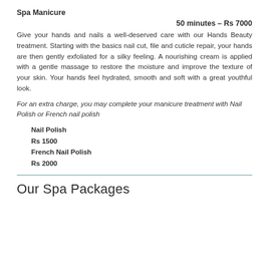Spa Manicure
50 minutes – Rs 7000
Give your hands and nails a well-deserved care with our Hands Beauty treatment. Starting with the basics nail cut, file and cuticle repair, your hands are then gently exfoliated for a silky feeling. A nourishing cream is applied with a gentle massage to restore the moisture and improve the texture of your skin. Your hands feel hydrated, smooth and soft with a great youthful look.
For an extra charge, you may complete your manicure treatment with Nail Polish or French nail polish
Nail Polish
Rs 1500
French Nail Polish
Rs 2000
Our Spa Packages